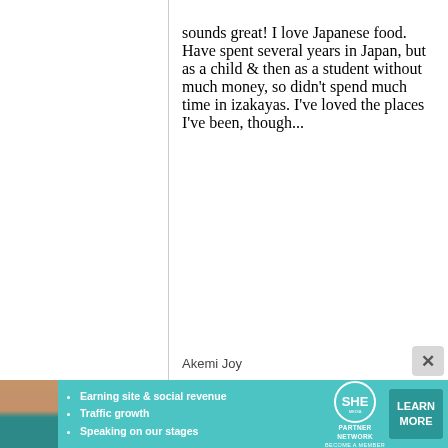sounds great! I love Japanese food. Have spent several years in Japan, but as a child & then as a student without much money, so didn't spend much time in izakayas. I've loved the places I've been, though...
Akemi Joy
[Figure (infographic): Advertisement banner for SHE Partner Network with photo of woman, bullet points: Earning site & social revenue, Traffic growth, Speaking on our stages. SHE logo with circle emblem. LEARN MORE button.]